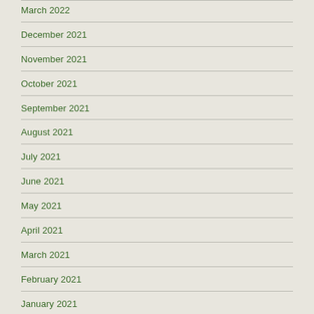March 2022
December 2021
November 2021
October 2021
September 2021
August 2021
July 2021
June 2021
May 2021
April 2021
March 2021
February 2021
January 2021
December 2020